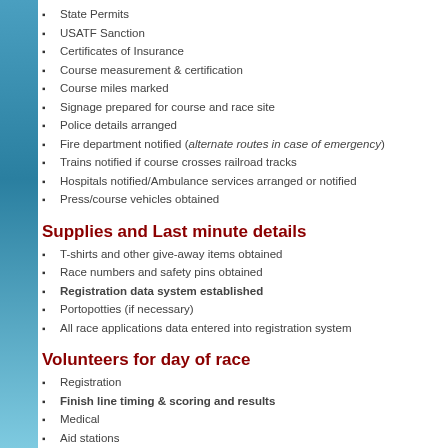State Permits
USATF Sanction
Certificates of Insurance
Course measurement & certification
Course miles marked
Signage prepared for course and race site
Police details arranged
Fire department notified (alternate routes in case of emergency)
Trains notified if course crosses railroad tracks
Hospitals notified/Ambulance services arranged or notified
Press/course vehicles obtained
Supplies and Last minute details
T-shirts and other give-away items obtained
Race numbers and safety pins obtained
Registration data system established
Portopotties (if necessary)
All race applications data entered into registration system
Volunteers for day of race
Registration
Finish line timing & scoring and results
Medical
Aid stations